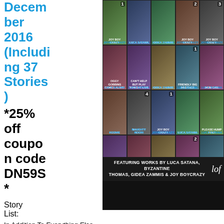December 2016 (Including 37 Stories) *25% off coupon code DN59S*
[Figure (illustration): Grid of adult fiction book covers featuring works by Luca Satana, Byzantine Thomas, Gidea Zammis & Joy Boycrazy]
Story List:
In Addition To Everything Else Going On In My Life Now I Have To Get My Mom Pregnant Too!: Intro & Episode 4
Aunt Sarah's Answer To Everything: Intro & Episode 6
Luca's Naughty Bits: Intro & When My Mom Got My D&D Guy Leveled Three Times I Had To Show Her My Appreciation
Oggy Gobbins Comes Alive!: Intro & First Time Ever
Johnny In Ladyland: Intro & Episode 1
In Addition To Everything Else Going On In My Life Now I Have To Get My Mom Pregnant Too!: Episode 5